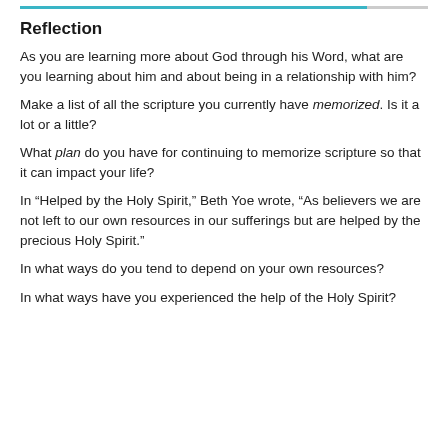Reflection
As you are learning more about God through his Word, what are you learning about him and about being in a relationship with him?
Make a list of all the scripture you currently have memorized. Is it a lot or a little?
What plan do you have for continuing to memorize scripture so that it can impact your life?
In “Helped by the Holy Spirit,” Beth Yoe wrote, “As believers we are not left to our own resources in our sufferings but are helped by the precious Holy Spirit.”
In what ways do you tend to depend on your own resources?
In what ways have you experienced the help of the Holy Spirit?